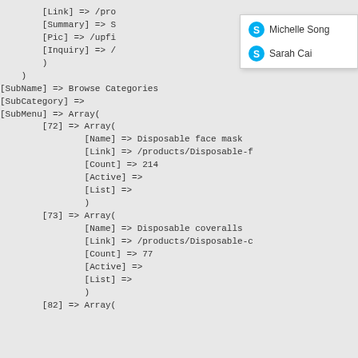[Figure (screenshot): Dropdown panel showing two user avatars with names: Michelle Song and Sarah Cai, each with a blue Skype-style icon.]
[Link] => /pro
[Summary] => S
[Pic] => /upfi
[Inquiry] => /
)
)
[SubName] => Browse Categories
[SubCategory] =>
[SubMenu] => Array(
    [72] => Array(
            [Name] => Disposable face mask
            [Link] => /products/Disposable-f
            [Count] => 214
            [Active] =>
            [List] =>
            )
    [73] => Array(
            [Name] => Disposable coveralls
            [Link] => /products/Disposable-c
            [Count] => 77
            [Active] =>
            [List] =>
            )
    [82] => Array(